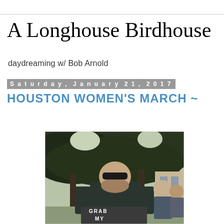A Longhouse Birdhouse
daydreaming w/ Bob Arnold
Saturday, January 21, 2017
HOUSTON WOMEN'S MARCH ~
[Figure (photo): A man with sunglasses and a beard holding a sign that reads 'GRAB MY' at the Houston Women's March, with large trees in the background and other people visible.]